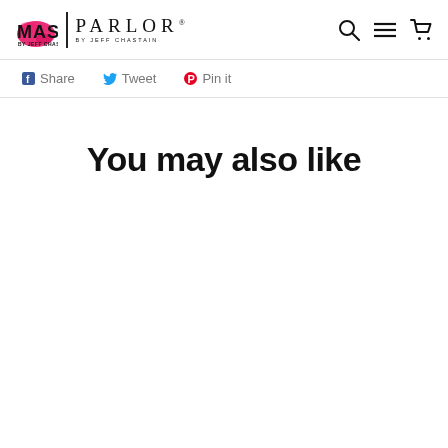MASC BY JEFF CHASTAIN | PARLOR BY JEFF CHASTAIN
Share  Tweet  Print
You may also like